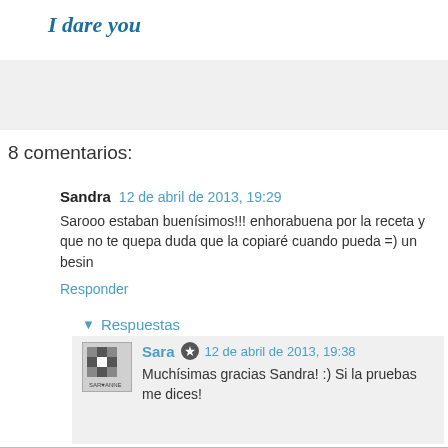I dare you
[Figure (other): Gray banner/advertisement area]
8 comentarios:
Sandra  12 de abril de 2013, 19:29
Sarooo estaban buenísimos!!! enhorabuena por la receta y que no te quepa duda que la copiaré cuando pueda =) un besin
Responder
Respuestas
Sara  12 de abril de 2013, 19:38
Muchísimas gracias Sandra! :) Si la pruebas me dices!